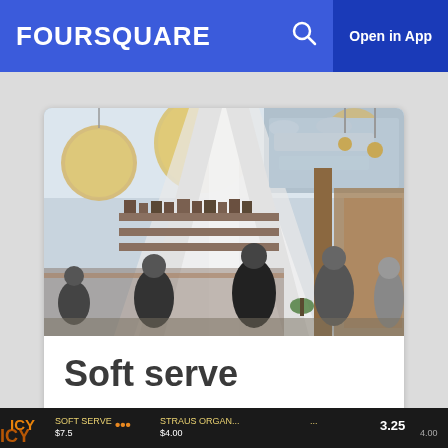FOURSQUARE  Open in App
[Figure (photo): Interior of a modern restaurant/cafe with large round globe pendant lights, white structural beams forming an A-frame shape, wooden shelving, and people standing at a counter]
Soft serve
Created by serifluous • Updated On: November 12, 2018
[Figure (photo): Bottom partial image showing a dark menu board with orange and yellow text listing menu items and prices]